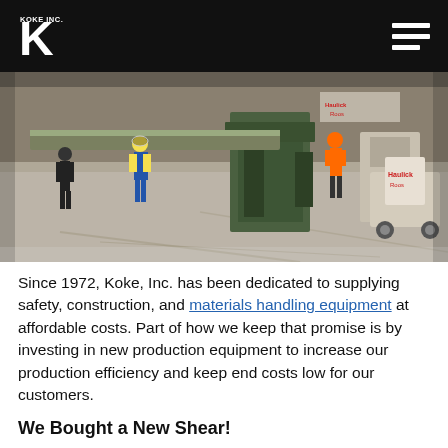KOKE INC.
[Figure (photo): Industrial warehouse floor scene with workers and large metal shearing/bending equipment. Several workers in yellow safety vests and hard hats standing near large green industrial machinery. A forklift and additional equipment visible in background.]
Since 1972, Koke, Inc. has been dedicated to supplying safety, construction, and materials handling equipment at affordable costs. Part of how we keep that promise is by investing in new production equipment to increase our production efficiency and keep end costs low for our customers.
We Bought a New Shear!